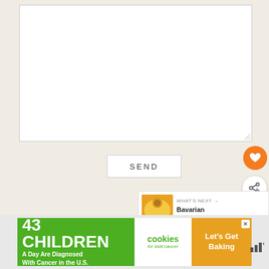[Figure (screenshot): White textarea input box with resize handle at bottom-right corner]
SEND
[Figure (other): Orange circular heart/favorite button icon]
[Figure (other): White circular share/add button icon]
[Figure (other): WHAT'S NEXT panel showing Bavarian Coco-Passio... with food thumbnail]
[Figure (other): Advertisement banner: 43 Children A Day Are Diagnosed With Cancer in the U.S. - cookies for kids cancer - Let's Get Baking]